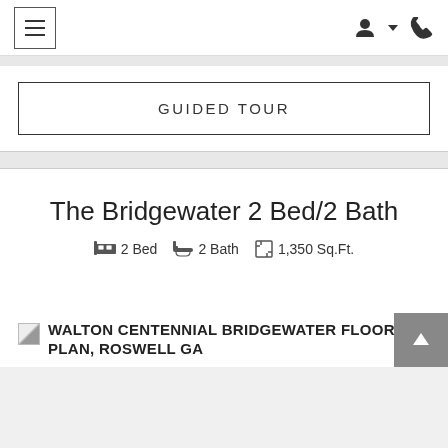Navigation bar with hamburger menu and user/phone icons
GUIDED TOUR
The Bridgewater 2 Bed/2 Bath
2 Bed  2 Bath  1,350 Sq.Ft.
[Figure (other): Broken image placeholder for Walton Centennial Bridgewater floor plan]
WALTON CENTENNIAL BRIDGEWATER FLOOR PLAN, ROSWELL GA